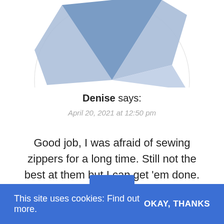[Figure (pie-chart): Partial pie/donut chart avatar graphic showing blue segments on a circular background, cropped at top of page]
Denise says:
April 20, 2021 at 12:50 pm
Good job, I was afraid of sewing zippers for a long time. Still not the best at them but I can get 'em done.
This site uses cookies: Find out more.  OKAY, THANKS